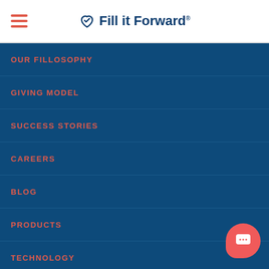Fill it Forward
OUR FILLOSOPHY
GIVING MODEL
SUCCESS STORIES
CAREERS
BLOG
PRODUCTS
TECHNOLOGY
RENTALS
2022 CATALOG
DELIVERY OPTIONS
CONTACT US